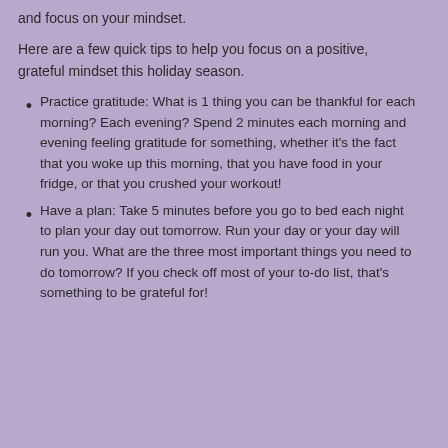and focus on your mindset.
Here are a few quick tips to help you focus on a positive, grateful mindset this holiday season.
Practice gratitude:  What is 1 thing you can be thankful for each morning?  Each evening?  Spend 2 minutes each morning and evening feeling gratitude for something, whether it's the fact that you woke up this morning, that you have food in your fridge, or that you crushed your workout!
Have a plan:  Take 5 minutes before you go to bed each night to plan your day out tomorrow.  Run your day or your day will run you.  What are the three most important things you need to do tomorrow?  If you check off most of your to-do list, that's something to be grateful for!